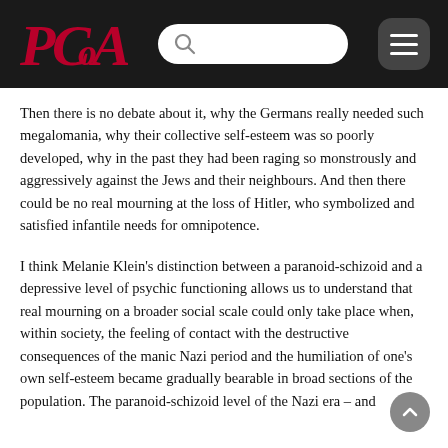PCOA [logo] [search bar] [menu]
Then there is no debate about it, why the Germans really needed such megalomania, why their collective self-esteem was so poorly developed, why in the past they had been raging so monstrously and aggressively against the Jews and their neighbours. And then there could be no real mourning at the loss of Hitler, who symbolized and satisfied infantile needs for omnipotence.
I think Melanie Klein’s distinction between a paranoid-schizoid and a depressive level of psychic functioning allows us to understand that real mourning on a broader social scale could only take place when, within society, the feeling of contact with the destructive consequences of the manic Nazi period and the humiliation of one’s own self-esteem became gradually bearable in broad sections of the population. The paranoid-schizoid level of the Nazi era – and